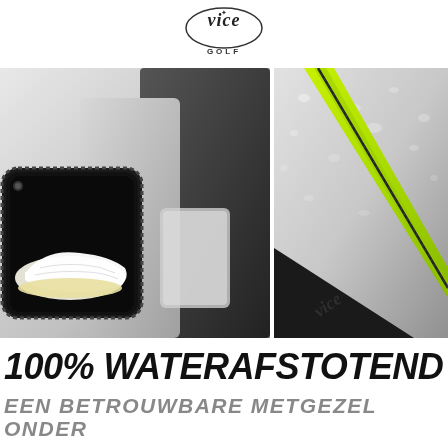[Figure (logo): Vice Golf logo — stylized cursive 'vice' text above the word GOLF in small caps]
[Figure (photo): Split two-photo layout: left photo shows an open zippered shoe compartment of a grey golf bag with a white golf shoe inside; right photo shows a close-up of waterproof grey fabric with a bright neon green stripe/zipper running diagonally]
100% WATERAFSTOTEND
EEN BETROUWBARE METGEZEL ONDER